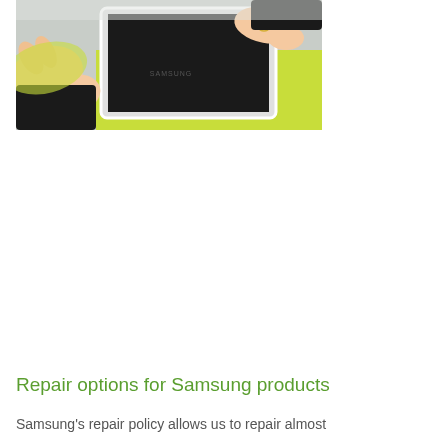[Figure (photo): Hands cleaning or handling a Samsung tablet with a yellow-green microfiber cloth on a white surface.]
Repair options for Samsung products
Samsung's repair policy allows us to repair almost